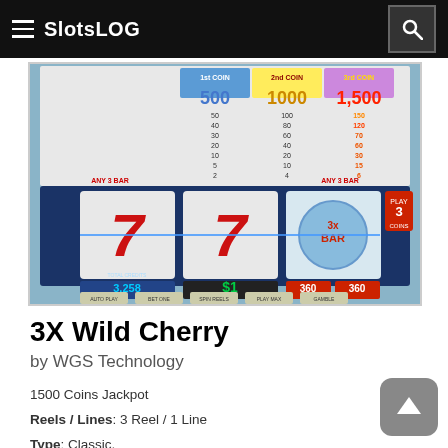SlotsLOG
[Figure (screenshot): Screenshot of 3X Wild Cherry slot machine game showing three reels with 7-7-3xBAR symbols, pay table, credits display showing 3,258, bet $1, win 360, and game controls (Auto Play, Bet One, Spin Reels, Play Max, Gamble)]
3X Wild Cherry
by WGS Technology
1500 Coins Jackpot
Reels / Lines: 3 Reel / 1 Line
Type: Classic,
Features: n/a
Theme: Classic th